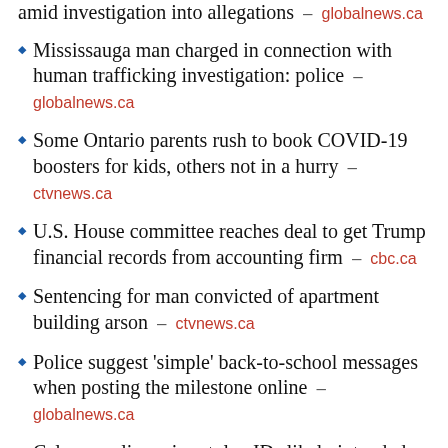amid investigation into allegations – globalnews.ca
Mississauga man charged in connection with human trafficking investigation: police – globalnews.ca
Some Ontario parents rush to book COVID-19 boosters for kids, others not in a hurry – ctvnews.ca
U.S. House committee reaches deal to get Trump financial records from accounting firm – cbc.ca
Sentencing for man convicted of apartment building arson – ctvnews.ca
Police suggest 'simple' back-to-school messages when posting the milestone online – globalnews.ca
Calgary police seize stolen IDs likely intended for online gun purchases – globalnews.ca
Two people charged with fraud after allegedly trying to access bank accounts in Halifax area – ctvnews.ca
After 33 days, missing man found in forest in northern Quebec – cbc.ca
A Baton-Fleur Fleuriste Failliti 340...